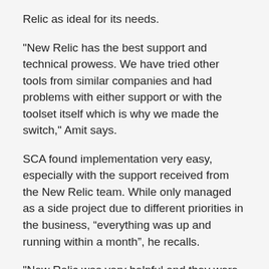Relic as ideal for its needs.
"New Relic has the best support and technical prowess. We have tried other tools from similar companies and had problems with either support or with the toolset itself which is why we made the switch," Amit says.
SCA found implementation very easy, especially with the support received from the New Relic team. While only managed as a side project due to different priorities in the business, “everything was up and running within a month”, he recalls.
"New Relic was very helpful and they were constantly present for any of our questions.